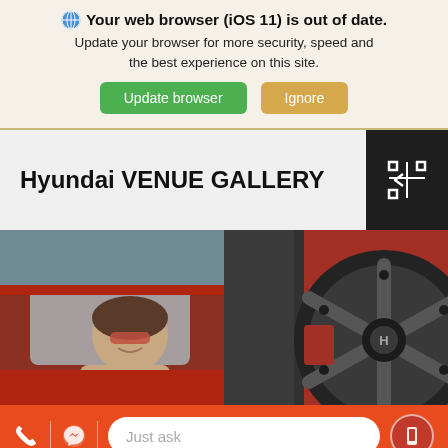🌐 Your web browser (iOS 11) is out of date. Update your browser for more security, speed and the best experience on this site.
Update browser | Ignore
Hyundai VENUE GALLERY
[Figure (photo): Two car photos side by side: left shows a woman with sunglasses in a red Hyundai VENUE; right shows the Hyundai alloy wheel and red body panel close-up.]
Just ask